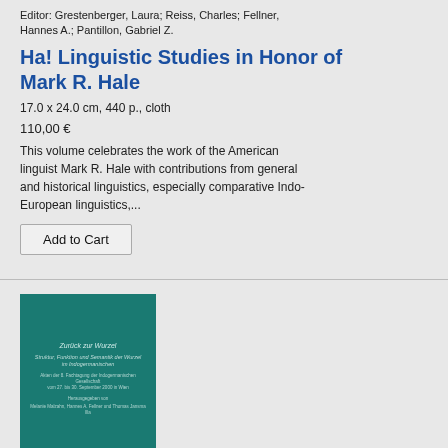Editor: Grestenberger, Laura; Reiss, Charles; Fellner, Hannes A.; Pantillon, Gabriel Z.
Ha! Linguistic Studies in Honor of Mark R. Hale
17.0 x 24.0 cm, 440 p., cloth
110,00 €
This volume celebrates the work of the American linguist Mark R. Hale with contributions from general and historical linguistics, especially comparative Indo-European linguistics,...
[Figure (screenshot): Add to Cart button]
[Figure (illustration): Book cover for a German-language linguistics volume with teal/dark green background, showing title 'Zurück zur Wurzel', subtitle 'Struktur, Funktion und Semantik der Wurzel im Indogermanischen', and editor names]